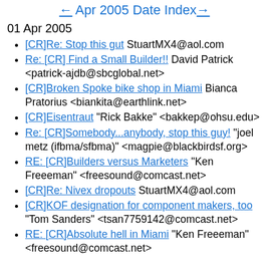← Apr 2005 Date Index→
01 Apr 2005
[CR]Re: Stop this gut StuartMX4@aol.com
Re: [CR] Find a Small Builder!! David Patrick <patrick-ajdb@sbcglobal.net>
[CR]Broken Spoke bike shop in Miami Bianca Pratorius <biankita@earthlink.net>
[CR]Eisentraut "Rick Bakke" <bakkep@ohsu.edu>
Re: [CR]Somebody...anybody, stop this guy! "joel metz (ifbma/sfbma)" <magpie@blackbirdsf.org>
RE: [CR]Builders versus Marketers "Ken Freeeman" <freesound@comcast.net>
[CR]Re: Nivex dropouts StuartMX4@aol.com
[CR]KOF designation for component makers, too "Tom Sanders" <tsan7759142@comcast.net>
RE: [CR]Absolute hell in Miami "Ken Freeeman" <freesound@comcast.net>